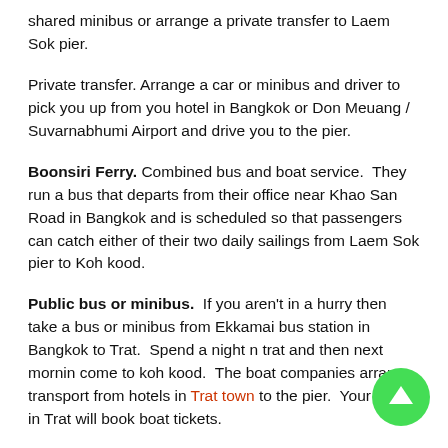shared minibus or arrange a private transfer to Laem Sok pier.
Private transfer. Arrange a car or minibus and driver to pick you up from you hotel in Bangkok or Don Meuang / Suvarnabhumi Airport and drive you to the pier.
Boonsiri Ferry. Combined bus and boat service. They run a bus that departs from their office near Khao San Road in Bangkok and is scheduled so that passengers can catch either of their two daily sailings from Laem Sok pier to Koh kood.
Public bus or minibus. If you aren't in a hurry then take a bus or minibus from Ekkamai bus station in Bangkok to Trat. Spend a night n trat and then next mornin come to koh kood. The boat companies arrange transport from hotels in Trat town to the pier. Your hotel in Trat will book boat tickets.
Trat is a laid back town and offers a chance a see